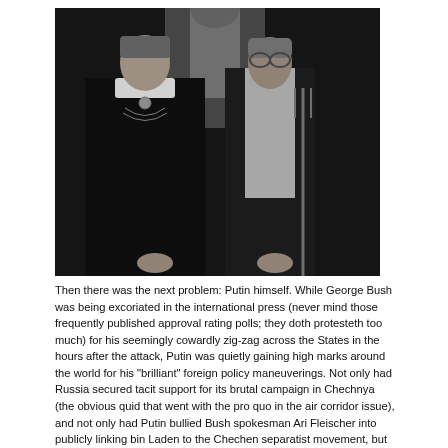[Figure (photo): Black and white photograph resembling the American Gothic painting style, showing two stern-faced people — a woman on the left in dark clothing with a white collar and brooch, and a man on the right in dark overalls with a white shirt, holding a pitchfork.]
Then there was the next problem: Putin himself. While George Bush was being excoriated in the international press (never mind those frequently published approval rating polls; they doth protesteth too much) for his seemingly cowardly zig-zag across the States in the hours after the attack, Putin was quietly gaining high marks around the world for his "brilliant" foreign policy maneuverings. Not only had Russia secured tacit support for its brutal campaign in Chechnya (the obvious quid that went with the pro quo in the air corridor issue), and not only had Putin bullied Bush spokesman Ari Fleischer into publicly linking bin Laden to the Chechen separatist movement, but Russia had succeeded in getting the United States to shoulder the entire military risk of attacking a Taliban enemy that Russia herself wanted removed—a major coup.